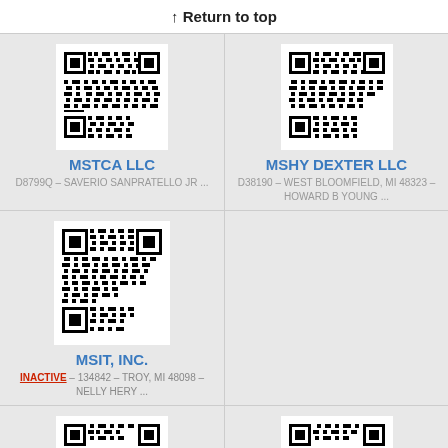↑ Return to top
[Figure (other): QR code for MSTCA LLC]
MSTCA LLC
D8799Q – SAVERIO SANPRATELLO JR ...
[Figure (other): QR code for MSHY DEXTER LLC]
MSHY DEXTER LLC
D38190 – WEST BLOOMFIELD, MI 48323 – HOWARD B YOUNG ...
[Figure (other): QR code for MSIT, INC.]
MSIT, INC.
INACTIVE – 134842 – TROY, MI 48098 – NELLY HERY ...
[Figure (other): QR code for entity at bottom left]
[Figure (other): QR code for entity at bottom right]